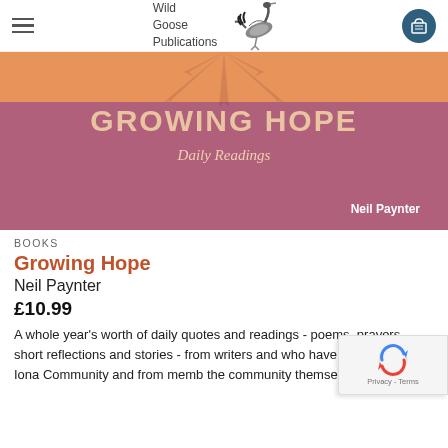Wild Goose Publications
[Figure (illustration): Book cover for 'Growing Hope: Daily Readings' by Neil Paynter. Purple/mauve background with orange top strip. Large text reading 'GROWING HOPE' and subtitle 'Daily Readings', author name 'Neil Paynter' bottom right.]
BOOKS
Growing Hope
Neil Paynter
£10.99
A whole year's worth of daily quotes and readings - poems, prayers, short reflections and stories - from writers and who have inspired the Iona Community and from memb the community themselves.